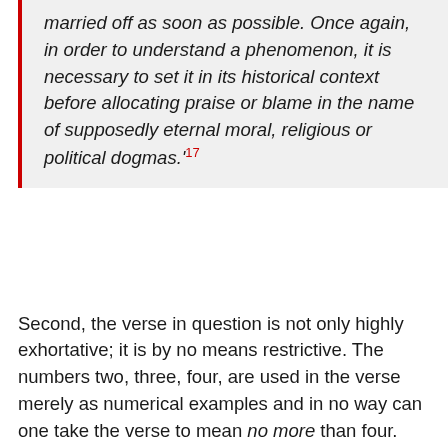married off as soon as possible. Once again, in order to understand a phenomenon, it is necessary to set it in its historical context before allocating praise or blame in the name of supposedly eternal moral, religious or political dogmas.'17
Second, the verse in question is not only highly exhortative; it is by no means restrictive. The numbers two, three, four, are used in the verse merely as numerical examples and in no way can one take the verse to mean no more than four. Other verses in the Qur'an, e.g. 4:24, encourage men to take as many wives as they can afford. What does in fact call for a historical explanation – something that has never been offered, and which I am myself unable to provide – is why the later Muslim theologians took sura 4, verse 3 to be a restrictive clause at all.